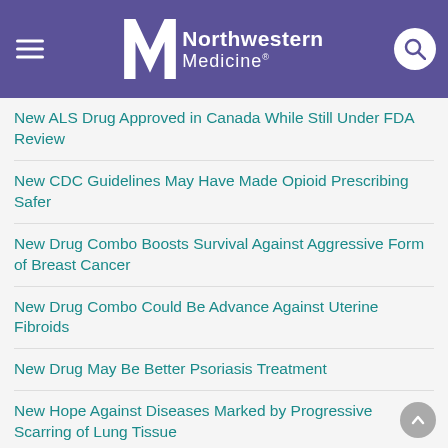Northwestern Medicine
New ALS Drug Approved in Canada While Still Under FDA Review
New CDC Guidelines May Have Made Opioid Prescribing Safer
New Drug Combo Boosts Survival Against Aggressive Form of Breast Cancer
New Drug Combo Could Be Advance Against Uterine Fibroids
New Drug May Be Better Psoriasis Treatment
New Hope Against Diseases Marked by Progressive Scarring of Lung Tissue
New Hope for IBD Patients
New Malaria Treatment Gets First Approval for Use in Children